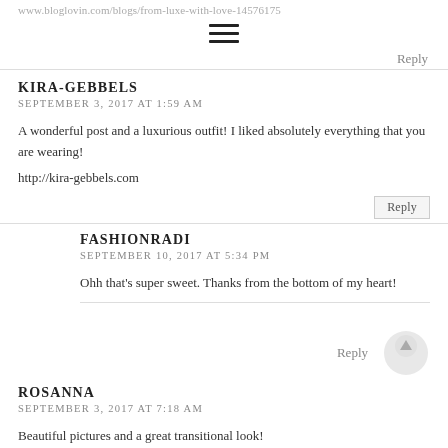www.bloglovin.com/blogs/from-luxe-with-love-14576175
[Figure (other): Hamburger menu icon (three horizontal lines)]
Reply
KIRA-GEBBELS
SEPTEMBER 3, 2017 AT 1:59 AM
A wonderful post and a luxurious outfit! I liked absolutely everything that you are wearing!
http://kira-gebbels.com
Reply
FASHIONRADI
SEPTEMBER 10, 2017 AT 5:34 PM
Ohh that's super sweet. Thanks from the bottom of my heart!
Reply
ROSANNA
SEPTEMBER 3, 2017 AT 7:18 AM
Beautiful pictures and a great transitional look!